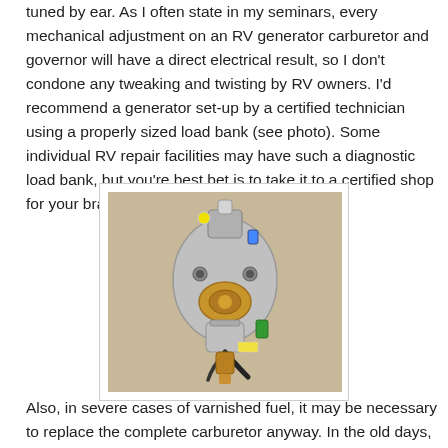tuned by ear. As I often state in my seminars, every mechanical adjustment on an RV generator carburetor and governor will have a direct electrical result, so I don't condone any tweaking and twisting by RV owners. I'd recommend a generator set-up by a certified technician using a properly sized load bank (see photo). Some individual RV repair facilities may have such a diagnostic load bank, but you're best bet is to take it to a certified shop for your brand of generator when possible.
[Figure (photo): Close-up photo of an RV generator carburetor component showing metal body with brass fittings, fuel connectors, and wiring on a light brown background.]
Also, in severe cases of varnished fuel, it may be necessary to replace the complete carburetor anyway. In the old days, we used to rebuild generator carburetors, but with the newer models, replacement is the better option. (In some cases, the only option.)